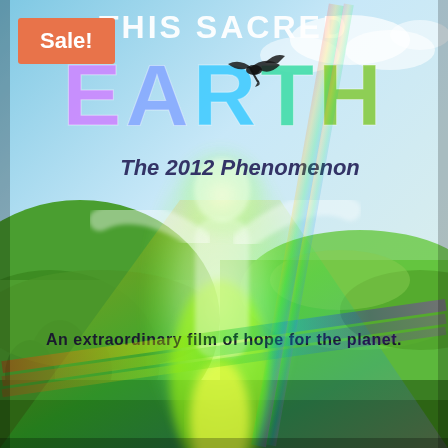[Figure (photo): DVD or movie product cover for 'This Sacred Earth – The 2012 Phenomenon'. The cover shows a glowing figure with arms raised holding a luminous sphere, set against a lush green countryside landscape. Large stylized text reads 'EARTH' with a bird (eagle) flying through the letters. Text overlays include 'This Sacred', 'The 2012 Phenomenon', and 'An extraordinary film of hope for the planet.' Rainbow light effects streak across the image.]
Sale!